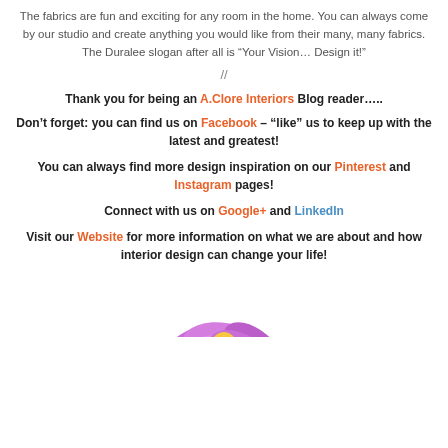The fabrics are fun and exciting for any room in the home. You can always come by our studio and create anything you would like from their many, many fabrics. The Duralee slogan after all is “Your Vision… Design it!”
//
Thank you for being an A.Clore Interiors Blog reader…..
Don’t forget: you can find us on Facebook – “like” us to keep up with the latest and greatest!
You can always find more design inspiration on our Pinterest and Instagram pages!
Connect with us on Google+ and LinkedIn
Visit our Website for more information on what we are about and how interior design can change your life!
[Figure (illustration): Partial view of a purple/pink flower at the bottom of the page]